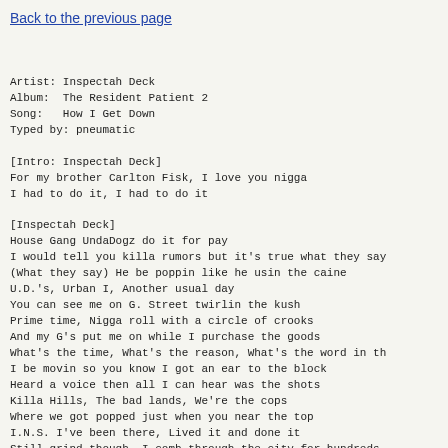Back to the previous page
Artist: Inspectah Deck
Album:  The Resident Patient 2
Song:   How I Get Down
Typed by: pneumatic
[Intro: Inspectah Deck]
For my brother Carlton Fisk, I love you nigga
I had to do it, I had to do it
[Inspectah Deck]
House Gang UndaDogz do it for pay
I would tell you killa rumors but it's true what they say
(What they say) He be poppin like he usin the caine
U.D.'s, Urban I, Another usual day
You can see me on G. Street twirlin the kush
Prime time, Nigga roll with a circle of crooks
And my G's put me on while I purchase the goods
What's the time, What's the reason, What's the word in th
I be movin so you know I got an ear to the block
Heard a voice then all I can hear was the shots
Killa Hills, The bad lands, We're the cops
Where we got popped just when you near the top
I.N.S. I've been there, Lived it and done it
Still grind though, I comb through the city for hundreds
Still shine though, The kid stay gritty and love it